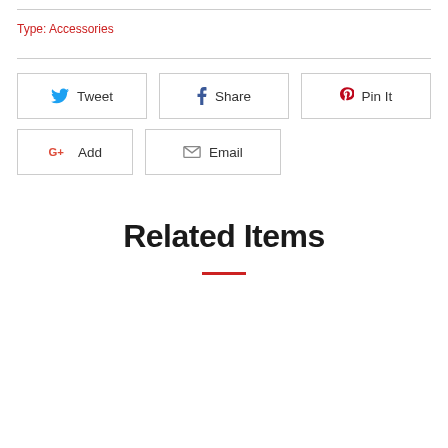Type: Accessories
[Figure (other): Social share buttons: Tweet (Twitter), Share (Facebook), Pin It (Pinterest), Add (Google+), Email]
Related Items